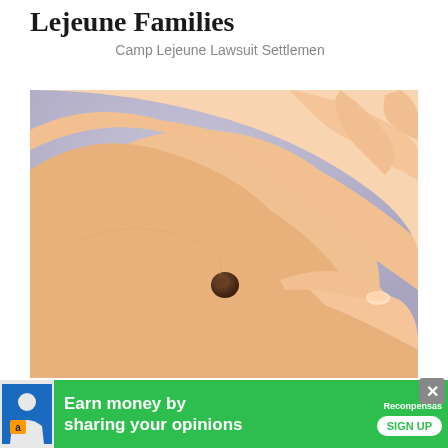Lejeune Families
Camp Lejeune Lawsuit Settlemen
[Figure (photo): Close-up photo of a person's shoulder/back area showing a mole, with a hand pointing to it, suggesting a skin condition examination.]
Do You Know What Plasma Psoriasis Is?
[Figure (infographic): Advertisement banner: green background with Amazon icon, text 'Earn money by sharing your opinions', MyReconpensas logo, and SIGN UP button. Close buttons visible.]